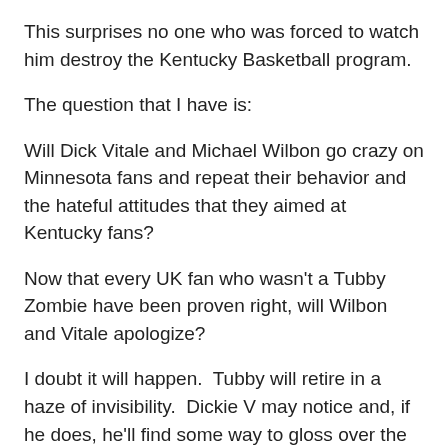This surprises no one who was forced to watch him destroy the Kentucky Basketball program.
The question that I have is:
Will Dick Vitale and Michael Wilbon go crazy on Minnesota fans and repeat their behavior and the hateful attitudes that they aimed at Kentucky fans?
Now that every UK fan who wasn't a Tubby Zombie have been proven right, will Wilbon and Vitale apologize?
I doubt it will happen.  Tubby will retire in a haze of invisibility.  Dickie V may notice and, if he does, he'll find some way to gloss over the failure of Tubby at UM.
Wilbon will ignore it as he was proven wrong by the failure of Tubby to produce anything.  no Big Ten Title.  Not even